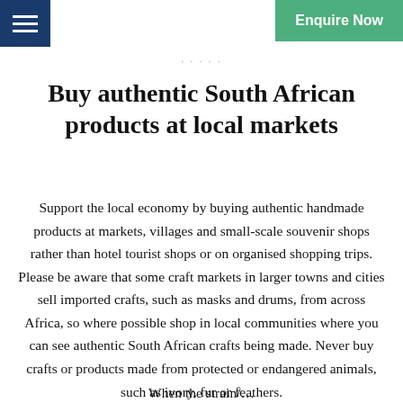Enquire Now
Buy authentic South African products at local markets
Support the local economy by buying authentic handmade products at markets, villages and small-scale souvenir shops rather than hotel tourist shops or on organised shopping trips. Please be aware that some craft markets in larger towns and cities sell imported crafts, such as masks and drums, from across Africa, so where possible shop in local communities where you can see authentic South African crafts being made. Never buy crafts or products made from protected or endangered animals, such as ivory, fur or feathers.
When the strain/...